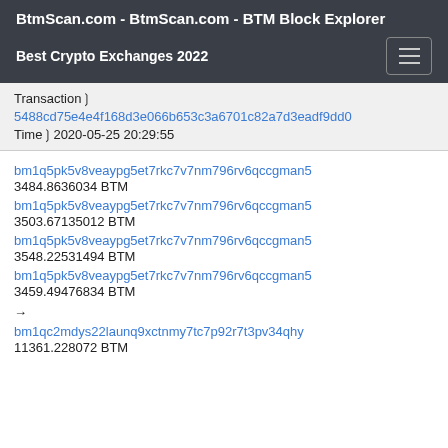BtmScan.com - BtmScan.com - BTM Block Explorer
Best Crypto Exchanges 2022
Transactionó 5488cd75e4e4f168d3e066b653c3a6701c82a7d3eadf9dd0...
Timeó2020-05-25 20:29:55
bm1q5pk5v8veaypg5et7rkc7v7nm796rv6qccgman5
3484.8636034 BTM
bm1q5pk5v8veaypg5et7rkc7v7nm796rv6qccgman5
3503.67135012 BTM
bm1q5pk5v8veaypg5et7rkc7v7nm796rv6qccgman5
3548.22531494 BTM
bm1q5pk5v8veaypg5et7rkc7v7nm796rv6qccgman5
3459.49476834 BTM
→
bm1qc2mdys22launq9xctnmy7tc7p92r7t3pv34qhy
11361.228072 BTM